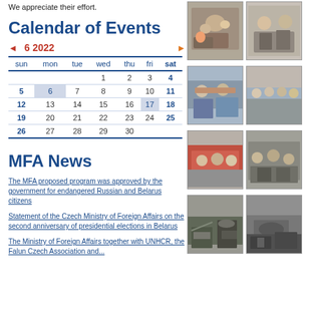We appreciate their effort.
Calendar of Events
| sun | mon | tue | wed | thu | fri | sat |
| --- | --- | --- | --- | --- | --- | --- |
|  |  |  | 1 | 2 | 3 | 4 |
| 5 | 6 | 7 | 8 | 9 | 10 | 11 |
| 12 | 13 | 14 | 15 | 16 | 17 | 18 |
| 19 | 20 | 21 | 22 | 23 | 24 | 25 |
| 26 | 27 | 28 | 29 | 30 |  |  |
MFA News
The MFA proposed program was approved by the government for endangered Russian and Belarus citizens
Statement of the Czech Ministry of Foreign Affairs on the second anniversary of presidential elections in Belarus
The Ministry of Foreign Affairs together with UNHCR, the Falun Czech Association and...
[Figure (photo): Group meeting photo top-right]
[Figure (photo): Handshake photo top-far-right]
[Figure (photo): Men with framed picture mid-right]
[Figure (photo): Group of men standing mid-far-right]
[Figure (photo): Meeting at table lower-mid-right]
[Figure (photo): Another meeting photo lower-mid-far-right]
[Figure (photo): Military vehicle/equipment lower-right]
[Figure (photo): Military truck lower-far-right]